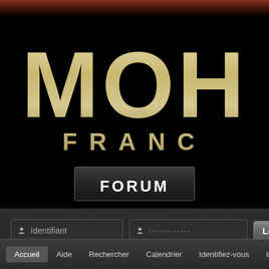[Figure (screenshot): MOH France gaming website banner screenshot showing 'MOH' in large distressed letters and 'FRANC' below it on a black background with grunge texture at top]
FORUM
Identifiant
............
Login
Mot de passe oublié   Création de compte
Accueil   Aide   Rechercher   Calendrier   Identifiez-vous   Inscrive